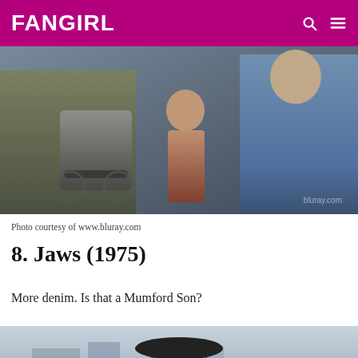FANGIRL
[Figure (photo): Movie still from Jaws (1975) showing people including someone in a wheelchair, a woman in a bikini, and a man in a denim shirt. Watermark reads 'bluray.com'.]
Photo courtesy of www.bluray.com
8. Jaws (1975)
More denim. Is that a Mumford Son?
[Figure (photo): Partial movie still from Jaws (1975) showing a man wearing a black cap, outdoors near water.]